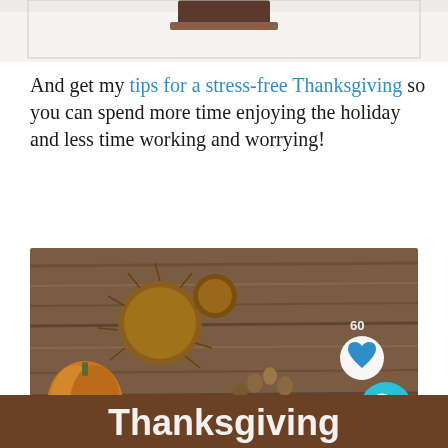[Figure (photo): Partial top image showing bottom of an object on white background]
And get my tips for a stress-free Thanksgiving so you can spend more time enjoying the holiday and less time working and worrying!
[Figure (photo): Thanksgiving themed image with chestnuts, leaves, pumpkins on a wooden background with 'Stress-Free' text overlay in script font, heart button and search button visible]
[Figure (photo): Bottom strip showing partial image with 'Thanksgiving' text in white bold font on dark background, with close (x) button]